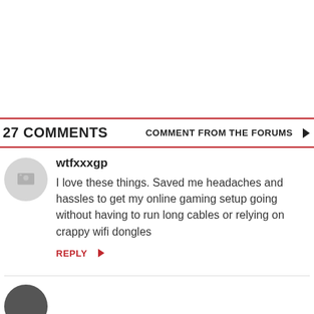27 COMMENTS
COMMENT FROM THE FORUMS ▶
wtfxxxgp
I love these things. Saved me headaches and hassles to get my online gaming setup going without having to run long cables or relying on crappy wifi dongles
REPLY ▶